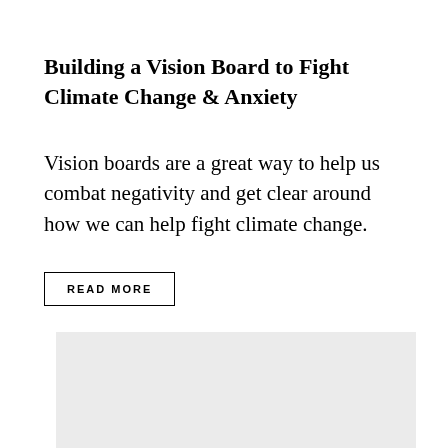Building a Vision Board to Fight Climate Change & Anxiety
Vision boards are a great way to help us combat negativity and get clear around how we can help fight climate change.
READ MORE
[Figure (photo): Light gray placeholder image rectangle]